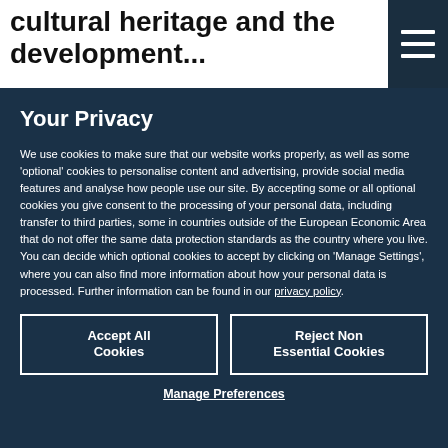cultural heritage and the development…
Your Privacy
We use cookies to make sure that our website works properly, as well as some 'optional' cookies to personalise content and advertising, provide social media features and analyse how people use our site. By accepting some or all optional cookies you give consent to the processing of your personal data, including transfer to third parties, some in countries outside of the European Economic Area that do not offer the same data protection standards as the country where you live. You can decide which optional cookies to accept by clicking on 'Manage Settings', where you can also find more information about how your personal data is processed. Further information can be found in our privacy policy.
Accept All Cookies
Reject Non Essential Cookies
Manage Preferences